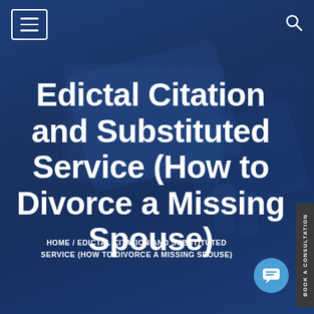Navigation menu and search icon
Edictal Citation and Substituted Service (How to Divorce a Missing Spouse)
HOME / EDICTAL CITATION AND SUBSTITUTED SERVICE (HOW TO DIVORCE A MISSING SPOUSE)